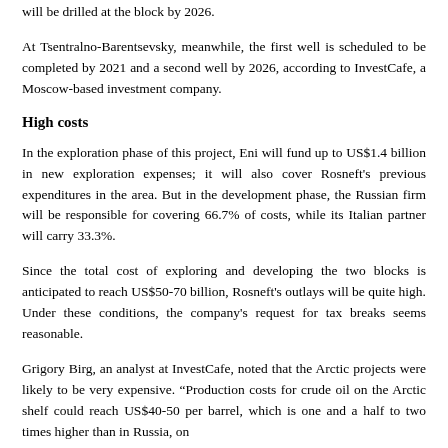will be drilled at the block by 2026.
At Tsentralno-Barentsevsky, meanwhile, the first well is scheduled to be completed by 2021 and a second well by 2026, according to InvestCafe, a Moscow-based investment company.
High costs
In the exploration phase of this project, Eni will fund up to US$1.4 billion in new exploration expenses; it will also cover Rosneft's previous expenditures in the area. But in the development phase, the Russian firm will be responsible for covering 66.7% of costs, while its Italian partner will carry 33.3%.
Since the total cost of exploring and developing the two blocks is anticipated to reach US$50-70 billion, Rosneft's outlays will be quite high. Under these conditions, the company's request for tax breaks seems reasonable.
Grigory Birg, an analyst at InvestCafe, noted that the Arctic projects were likely to be very expensive. “Production costs for crude oil on the Arctic shelf could reach US$40-50 per barrel, which is one and a half to two times higher than in Russia, on